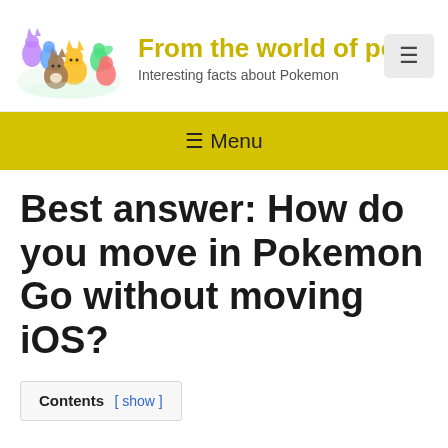[Figure (logo): Colorful Eevee evolutions group illustration used as site logo]
From the world of po
Interesting facts about Pokemon
≡ Menu
Best answer: How do you move in Pokemon Go without moving iOS?
Contents [ show ]